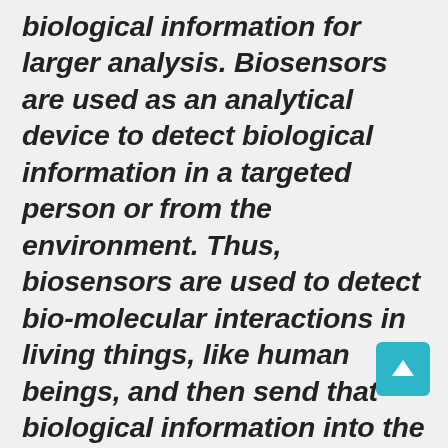biological information for larger analysis. Biosensors are used as an analytical device to detect biological information in a targeted person or from the environment. Thus, biosensors are used to detect bio-molecular interactions in living things, like human beings, and then send that biological information into the sensor that transduces it into an electrical signal that creates a feedback loop back into a computer network. These are currently being used and experimented with in diagnostic and clinical settings in the